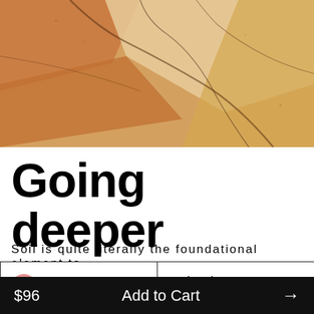[Figure (photo): Close-up of layered sandstone or rock surface with warm tan, orange, and brown tones and visible cracks/crevices]
Going deeper
Soil is quite literally the foundational element to
Rosé  12 bottles  free shipping
$96  Add to Cart  →